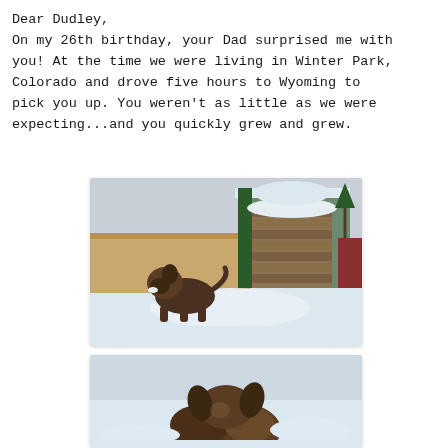Dear Dudley,
On my 26th birthday, your Dad surprised me with you! At the time we were living in Winter Park, Colorado and drove five hours to Wyoming to pick you up. You weren't as little as we were expecting...and you quickly grew and grew.
[Figure (photo): A young terrier-mix puppy with snow on its nose standing in a snowy backyard. Behind the dog is a large stack of firewood covered in snow, a wooden fence, and a green-sided house in the background.]
[Figure (photo): Close-up view from above/behind of a shaggy brown terrier dog in the snow, showing mostly the dog's back and ears.]